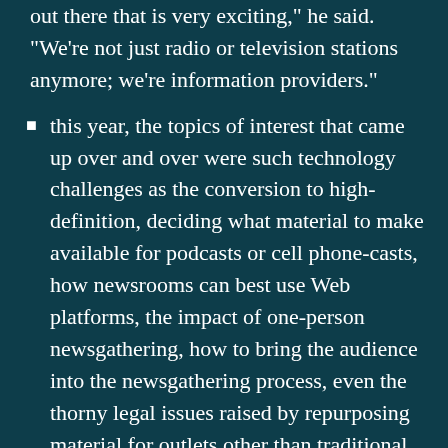out there that is very exciting," he said. "We're not just radio or television stations anymore; we're information providers."
this year, the topics of interest that came up over and over were such technology challenges as the conversion to high-definition, deciding what material to make available for podcasts or cell phone-casts, how newsrooms can best use Web platforms, the impact of one-person newsgathering, how to bring the audience into the newsgathering process, even the thorny legal issues raised by repurposing material for outlets other than traditional radio and TV broadcasts.